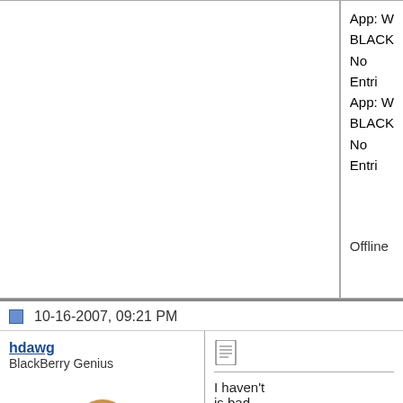App: W
BLACK
No Entri
App: W
BLACK
No Entri
Offline
10-16-2007, 09:21 PM
hdawg
BlackBerry Genius
Join Date: Aug 2006
Model: hdawg
PIN: port3101.org
Carrier: hdawg
Posts: 6,632
Offline
I haven't
is bad ...
alarming